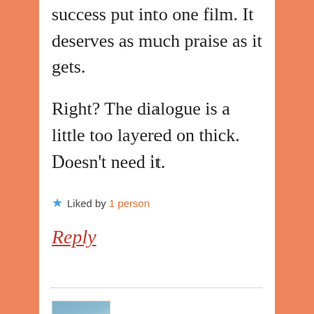success put into one film. It deserves as much praise as it gets.
Right? The dialogue is a little too layered on thick. Doesn’t need it.
★ Liked by 1 person
Reply
caprashire says: